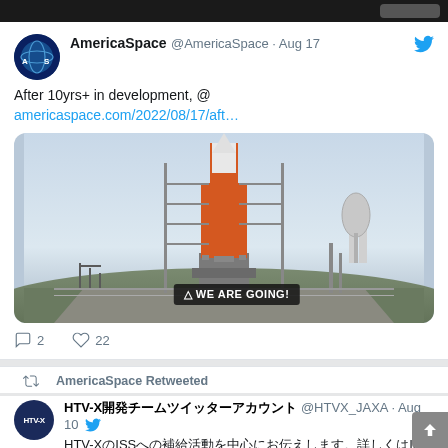AmericaSpace @AmericaSpace · Aug 17
After 10yrs+ in development, @ americaspace.com/2022/08/17/aft…
[Figure (photo): NASA SLS rocket on launchpad at Kennedy Space Center with water tower visible. Banner reads 'WE ARE GOING!']
2  22
AmericaSpace Retweeted
HTV-X開発チームツイッターアカウント @HTVX_JAXA · Aug 10
HTV-XのISSへの補給活動を中心にお伝えします。詳しくはISS補給機HTV-Xについてのご案内ページをご覧ください。(1/2)